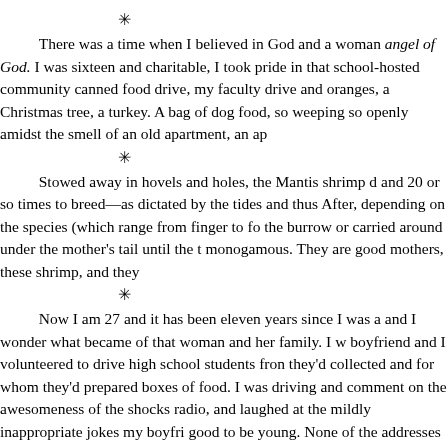* There was a time when I believed in God and a woman angel of God. I was sixteen and charitable, I took pride in that school-hosted community canned food drive, my faculty drive and oranges, a Christmas tree, a turkey. A bag of dog food, so weeping so openly amidst the smell of an old apartment, an ap
* Stowed away in hovels and holes, the Mantis shrimp d and 20 or so times to breed—as dictated by the tides and thus After, depending on the species (which range from finger to fo the burrow or carried around under the mother's tail until the t monogamous. They are good mothers, these shrimp, and they
* Now I am 27 and it has been eleven years since I was a and I wonder what became of that woman and her family. I w boyfriend and I volunteered to drive high school students fro they'd collected and for whom they'd prepared boxes of food. I was driving and comment on the awesomeness of the shock radio, and laughed at the mildly inappropriate jokes my boyfri good to be young. None of the addresses were on Fourth Stree